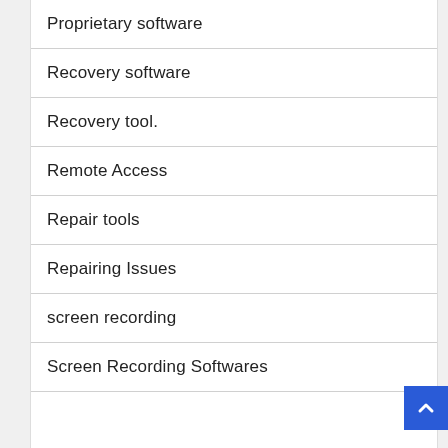Proprietary software
Recovery software
Recovery tool.
Remote Access
Repair tools
Repairing Issues
screen recording
Screen Recording Softwares